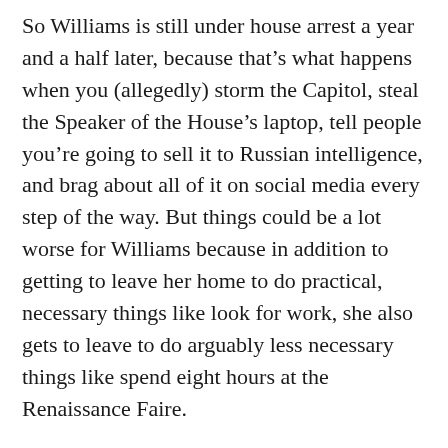So Williams is still under house arrest a year and a half later, because that's what happens when you (allegedly) storm the Capitol, steal the Speaker of the House's laptop, tell people you're going to sell it to Russian intelligence, and brag about all of it on social media every step of the way. But things could be a lot worse for Williams because in addition to getting to leave her home to do practical, necessary things like look for work, she also gets to leave to do arguably less necessary things like spend eight hours at the Renaissance Faire.
“She’s been in in-home detention for the last year and a half,” Williams’ attorney told the Pittsburgh Post-Gazette. “She is confined to her home 24/7 with exceptions. Every once in a while, if there is an